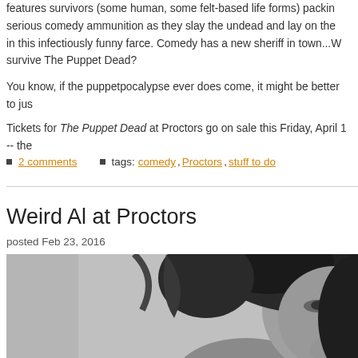features survivors (some human, some felt-based life forms) packing serious comedy ammunition as they slay the undead and lay on the in this infectiously funny farce. Comedy has a new sheriff in town...W survive The Puppet Dead?
You know, if the puppetpocalypse ever does come, it might be better to just
Tickets for The Puppet Dead at Proctors go on sale this Friday, April 1 -- the
2 comments   tags: comedy, Proctors, stuff to do
Weird Al at Proctors
posted Feb 23, 2016
[Figure (photo): Black and white photo of Weird Al Yankovic with long curly dark hair, looking upward, cropped to show head and shoulders]